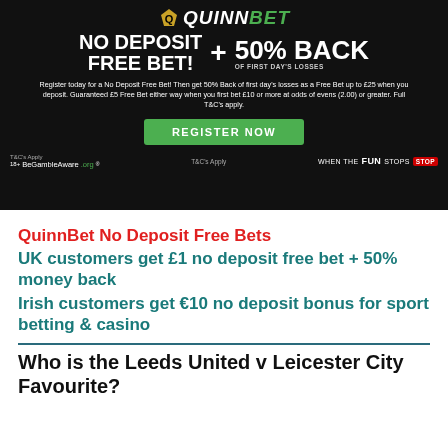[Figure (illustration): QuinnBet advertisement banner on black background. Shows 'QUINNBET' logo with gold Q icon, 'NO DEPOSIT FREE BET! + 50% BACK OF FIRST DAY'S LOSSES' headline in white bold text, body text about the offer, green REGISTER NOW button, BeGambleAware.org and T&Cs Apply footers, WHEN THE FUN STOPS STOP badge.]
QuinnBet No Deposit Free Bets
UK customers get £1 no deposit free bet + 50% money back
Irish customers get €10 no deposit bonus for sport betting & casino
Who is the Leeds United v Leicester City Favourite?